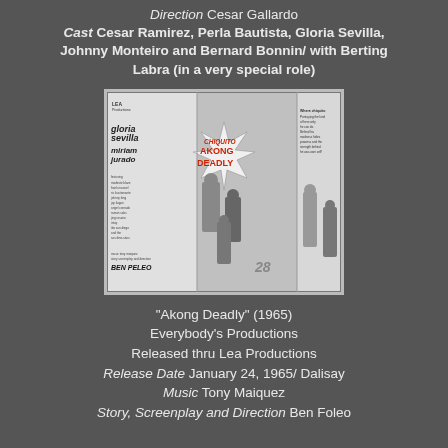Direction Cesar Gallardo Cast Cesar Ramirez, Perla Bautista, Gloria Sevilla, Johnny Monteiro and Bernard Bonnin/ with Berting Labra (in a very special role)
[Figure (photo): Black and white movie poster for 'Chiquito Akong Deadly' (1965) featuring cast names Gloria Sevilla, Miriam Jurado, and others, with Ben Peleo as director]
"Akong Deadly" (1965) Everybody's Productions Released thru Lea Productions Release Date January 24, 1965/ Dalisay Music Tony Maiquez Story, Screenplay and Direction Ben Foleo